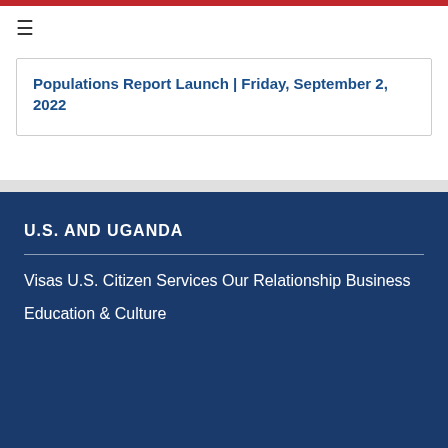≡
Populations Report Launch | Friday, September 2, 2022
U.S. AND UGANDA
Visas
U.S. Citizen Services
Our Relationship
Business
Education & Culture